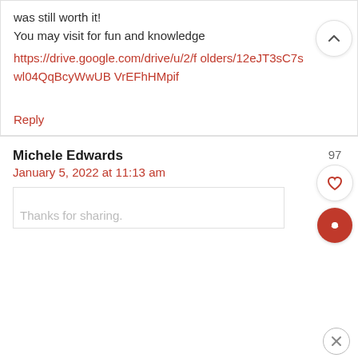was still worth it!
You may visit for fun and knowledge
https://drive.google.com/drive/u/2/folders/12eJT3sC7swl04QqBcyWwUBVrEFhHMpif
Reply
Michele Edwards
January 5, 2022 at 11:13 am
Thanks for sharing.